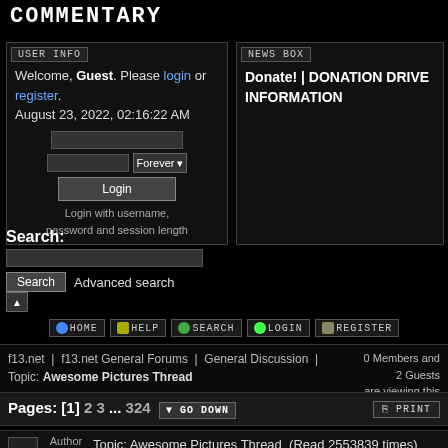COMMENTARY
USER INFO
Welcome, Guest. Please login or register. August 23, 2022, 02:16:22 AM
Login with username, password and session length
NEWS BOX
Donate! | DONATION DRIVE INFORMATION
Search:
Search   Advanced search
HOME   HELP   SEARCH   LOGIN   REGISTER
f13.net | f13.net General Forums | General Discussion | Topic: Awesome Pictures Thread
0 Members and 2 Guests are viewing this topic.
Pages: [1] 2 3 ... 324   GO DOWN   PRINT
Topic: Awesome Pictures Thread  (Read 2553839 times)